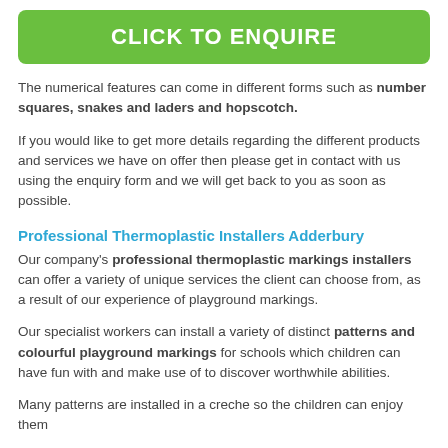CLICK TO ENQUIRE
The numerical features can come in different forms such as number squares, snakes and laders and hopscotch.
If you would like to get more details regarding the different products and services we have on offer then please get in contact with us using the enquiry form and we will get back to you as soon as possible.
Professional Thermoplastic Installers Adderbury
Our company's professional thermoplastic markings installers can offer a variety of unique services the client can choose from, as a result of our experience of playground markings.
Our specialist workers can install a variety of distinct patterns and colourful playground markings for schools which children can have fun with and make use of to discover worthwhile abilities.
Many patterns are installed in a creche so the children can enjoy them